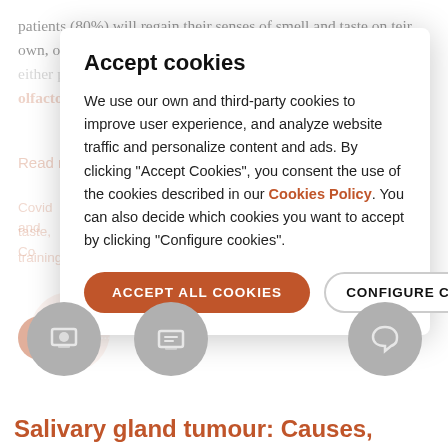patients (80%) will regain their senses of smell and taste on teir own, over time. For those who do not regain their sense of smell either partially or at all, there is only one option available to them: olfactory training
Read more
Covid and loss of smell and taste. Loss of smell and taste, Covid and more information about olfactory training. Olfactory mix multiply page small symptoms
[Figure (screenshot): Cookie consent modal dialog overlaying a medical webpage. The modal has title 'Accept cookies', body text explaining use of own and third-party cookies, a link to 'Cookies Policy', and two buttons: 'ACCEPT ALL COOKIES' (orange/brown) and 'CONFIGURE COOKIES' (outlined).]
[Figure (illustration): Three circular icon buttons at the bottom of the page, gray circles with white icons inside.]
Salivary gland tumour: Causes,